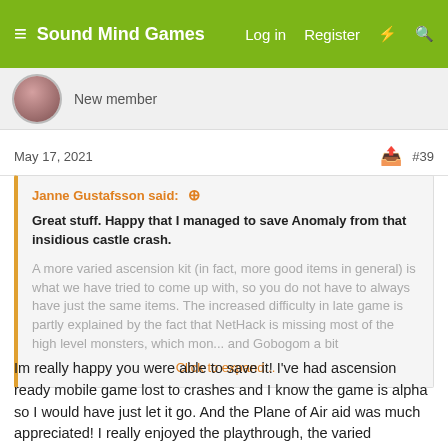≡ Sound Mind Games   Log in   Register   ⚡   🔍
New member
May 17, 2021   #39
Janne Gustafsson said: ⊕
Great stuff. Happy that I managed to save Anomaly from that insidious castle crash.
A more varied ascension kit (in fact, more good items in general) is what we have tried to come up with, so you do not have to always have just the same items. The increased difficulty in late game is partly explained by the fact that NetHack is missing most of the high level monsters, which mon... and Gobogom a bit
Click to expand...
Im really happy you were able to save it! I've had ascension ready mobile game lost to crashes and I know the game is alpha so I would have just let it go. And the Plane of Air aid was much appreciated! I really enjoyed the playthrough, the varied ascension kit possibilities combined with the diverse horde in